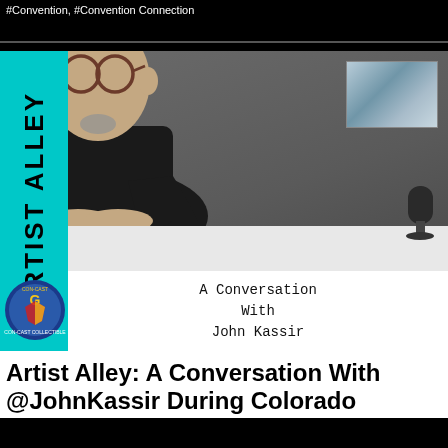#Convention, #Convention Connection
[Figure (photo): Thumbnail image of a man with glasses and short gray hair wearing a black t-shirt, seated at a white table in a studio setting with gray wall background and framed art. A cyan vertical band on the left reads 'ARTIST ALLEY' vertically. A Con-Cast Collectible logo badge appears bottom-left. White lower section contains text 'A Conversation With John Kassir' in typewriter font.]
Artist Alley: A Conversation With @JohnKassir During Colorado